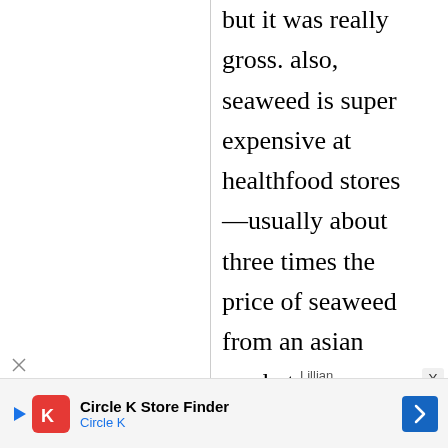but it was really gross. also, seaweed is super expensive at healthfood stores—usually about three times the price of seaweed from an asian market.
Lillian
Circle K Store Finder Circle K